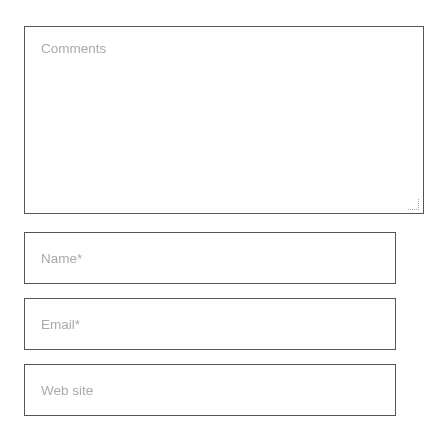Comments
Name*
Email*
Web site